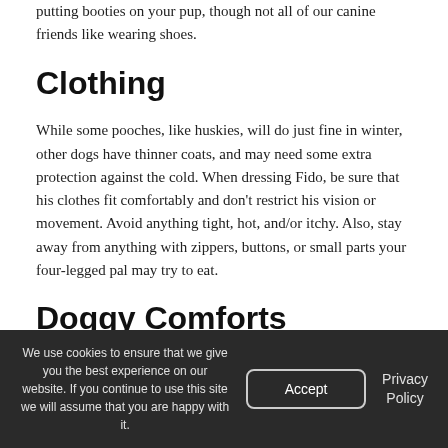putting booties on your pup, though not all of our canine friends like wearing shoes.
Clothing
While some pooches, like huskies, will do just fine in winter, other dogs have thinner coats, and may need some extra protection against the cold. When dressing Fido, be sure that his clothes fit comfortably and don't restrict his vision or movement. Avoid anything tight, hot, and/or itchy. Also, stay away from anything with zippers, buttons, or small parts your four-legged pal may try to eat.
Doggy Comforts
There are some little things you can do to keep your pet warm and cozy this winter. Make sure that Fido has a comfy doggy bed to snuggle up in. Your canine buddy may
We use cookies to ensure that we give you the best experience on our website. If you continue to use this site we will assume that you are happy with it.